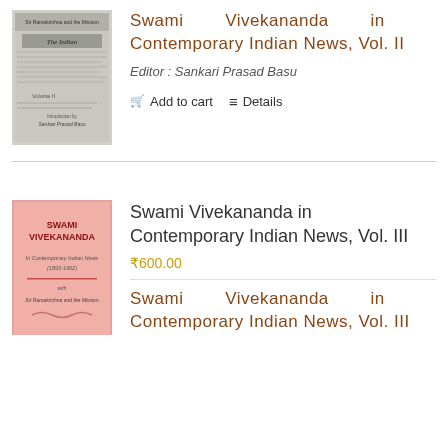[Figure (illustration): Book cover of Swami Vivekananda in Contemporary Indian News, Vol. II — newspaper-style cover with text and The Indian newspaper masthead visible]
Swami Vivekananda in Contemporary Indian News, Vol. II
Editor : Sankari Prasad Basu
Add to cart   Details
[Figure (illustration): Book cover of Swami Vivekananda in Contemporary Indian News, Vol. III — pink/red cover with bold title text and subtitle In Contemporary Indian News (1893-1902) with Sri Ramakrishna and the Mission]
Swami Vivekananda in Contemporary Indian News, Vol. III
₹600.00
Swami Vivekananda in Contemporary Indian News, Vol. III